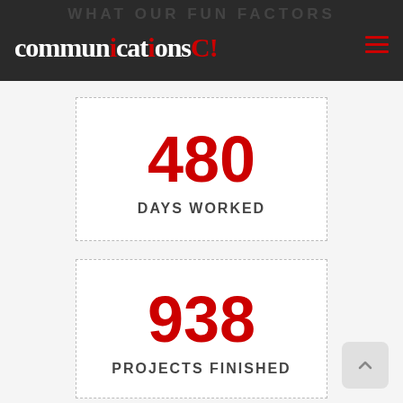WHAT OUR FUN FACTORS
communicationsC!
480
DAYS WORKED
938
PROJECTS FINISHED